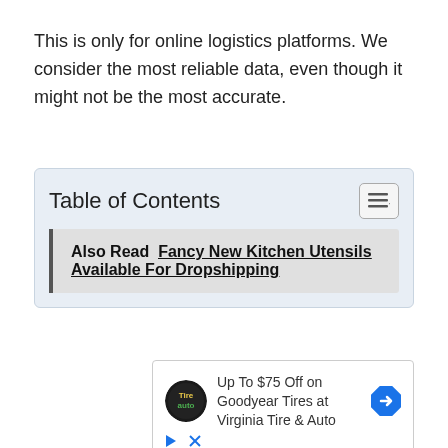This is only for online logistics platforms. We consider the most reliable data, even though it might not be the most accurate.
Table of Contents
Also Read  Fancy New Kitchen Utensils Available For Dropshipping
[Figure (screenshot): Advertisement: Up To $75 Off on Goodyear Tires at Virginia Tire & Auto, with Tire Auto logo and navigation arrow icon]